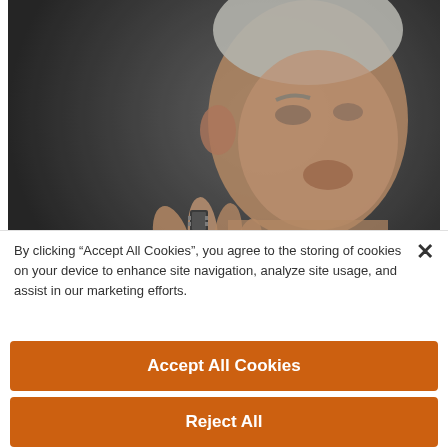[Figure (photo): President Joe Biden holding up a semiconductor chip between his fingers, photographed in close-up with a dark blurred background, wearing a dark suit with white shirt]
President Joe Biden holds a semiconductor during his remarks
By clicking "Accept All Cookies", you agree to the storing of cookies on your device to enhance site navigation, analyze site usage, and assist in our marketing efforts.
Accept All Cookies
Reject All
Cookies Settings